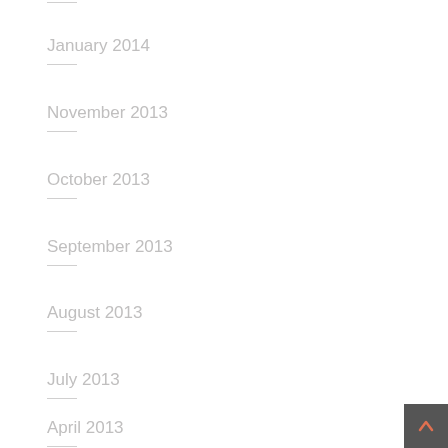January 2014
November 2013
October 2013
September 2013
August 2013
July 2013
April 2013